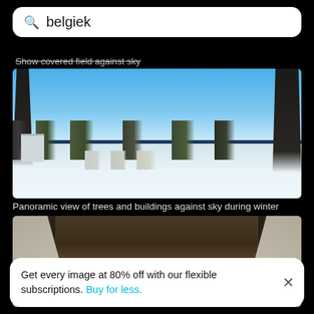[Figure (screenshot): Search bar with magnifying glass icon and text 'belgiek' on white rounded rectangle background]
Show covered field against sky
[Figure (photo): Panoramic winter landscape photo showing snow-covered fields, trees, and buildings against a blue sky]
Panoramic view of trees and buildings against sky during winter
[Figure (photo): Close-up overhead photo of what appears to be a worn ceramic or stone basin/bowl with dark patina patterns]
Get every image at 80% off with our flexible subscriptions. Buy for less.